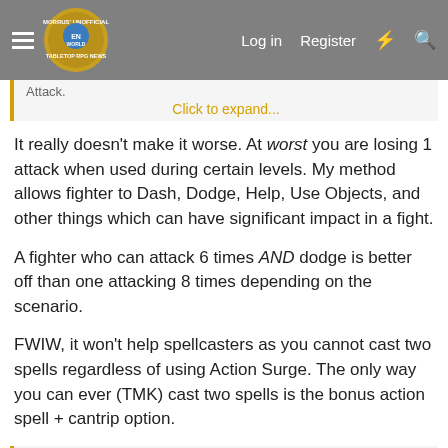Morrus' Unofficial Tabletop RPG News | Log in | Register
Attack.
Click to expand...
It really doesn't make it worse. At worst you are losing 1 attack when used during certain levels. My method allows fighter to Dash, Dodge, Help, Use Objects, and other things which can have significant impact in a fight.

A fighter who can attack 6 times AND dodge is better off than one attacking 8 times depending on the scenario.

FWIW, it won't help spellcasters as you cannot cast two spells regardless of using Action Surge. The only way you can ever (TMK) cast two spells is the bonus action spell + cantrip option.
NotAYakk said: ↑